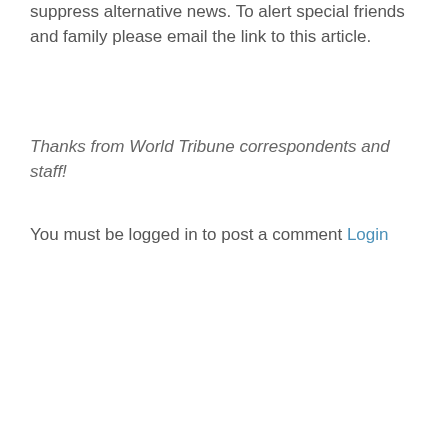suppress alternative news. To alert special friends and family please email the link to this article.
Thanks from World Tribune correspondents and staff!
You must be logged in to post a comment Login